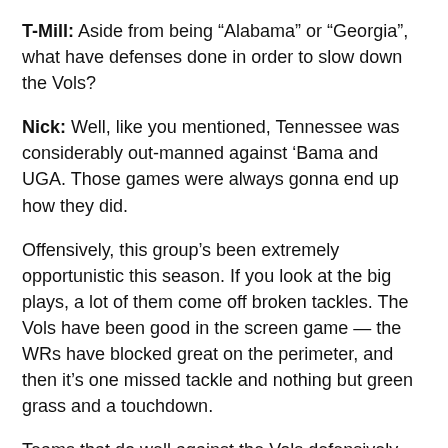T-Mill: Aside from being “Alabama” or “Georgia”, what have defenses done in order to slow down the Vols?
Nick: Well, like you mentioned, Tennessee was considerably out-manned against ‘Bama and UGA. Those games were always gonna end up how they did.
Offensively, this group’s been extremely opportunistic this season. If you look at the big plays, a lot of them come off broken tackles. The Vols have been good in the screen game — the WRs have blocked great on the perimeter, and then it’s one missed tackle and nothing but green grass and a touchdown.
Teams that do well against the Vols defensively have done well at just keeping the game manageable, so to speak. Don’t let WRs behind the DBs for long bombs…